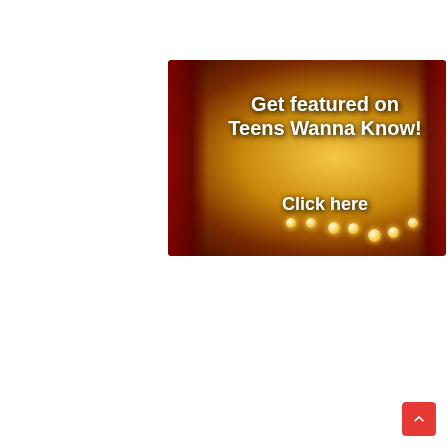[Figure (screenshot): Promotional banner image with dark red/gold background showing marquee lights and text: 'Get featured on Teens Wanna Know! Click here']
[Figure (screenshot): Spotify music player widget showing playlist 'Top 50 New Music B...' by houseozis, with Teens Wanna Know logo thumbnail, playback controls, and two tracks listed: 1. Waiting For Never - Post Malone 3:16, 2. Attention (with Justin Bieb... - Omah Lay, Disclosure, Justi... 4:16]
1  Waiting For Never  3:16
Post Malone
2  Attention (with Justin Bieb...  4:16
Omah Lay, Disclosure, Justi...